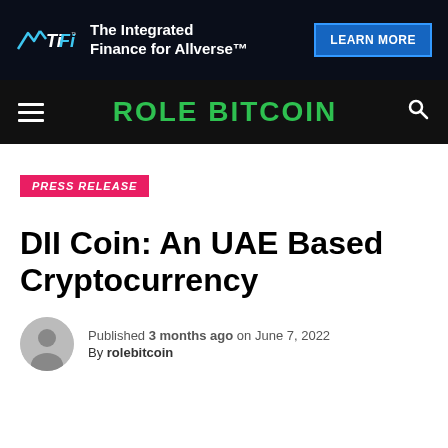[Figure (other): TiFi advertisement banner with logo, tagline 'The Integrated Finance for Allverse' and LEARN MORE button on dark background]
ROLE BITCOIN
PRESS RELEASE
DII Coin: An UAE Based Cryptocurrency
Published 3 months ago on June 7, 2022
By rolebitcoin